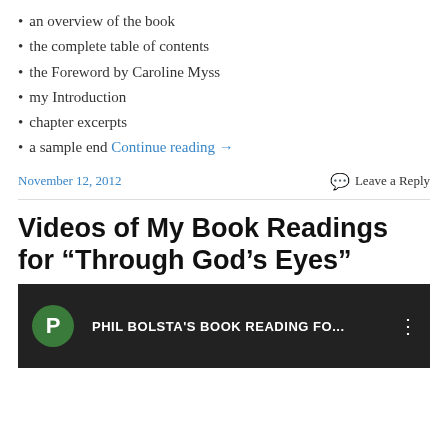an overview of the book
the complete table of contents
the Foreword by Caroline Myss
my Introduction
chapter excerpts
a sample end Continue reading →
November 12, 2012    Leave a Reply
Videos of My Book Readings for “Through God’s Eyes”
[Figure (screenshot): Video thumbnail showing a YouTube-style video player with a green circle avatar with 'P', the title 'PHIL BOLSTA'S BOOK READING FO...' in white text on a dark background, and a three-dot menu icon.]